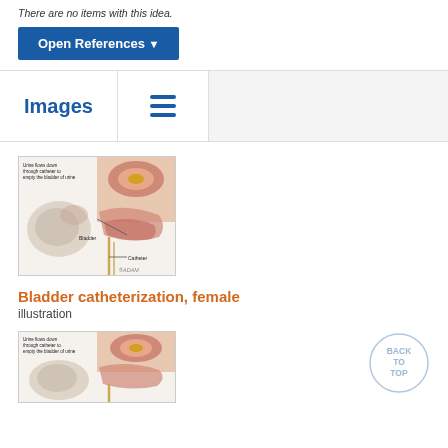There are no items with this idea.
Open References ▼
Images
[Figure (illustration): Medical illustration of bladder catheterization female, showing urine flows down through catheter to empty the bladder of urine, with labels for Bladder and Catheter. ADAM illustration.]
Bladder catheterization, female
illustration
[Figure (illustration): Second medical illustration of bladder catheterization, showing urine flows down through catheter to empty the bladder of urine.]